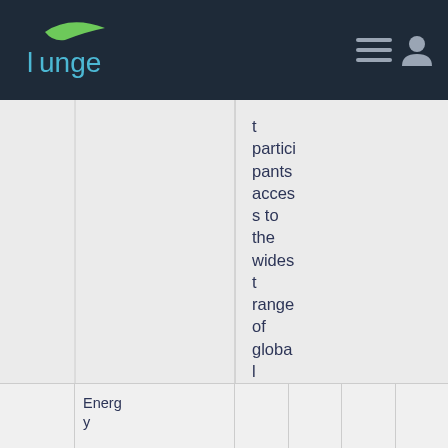Lunge
t participants access to the widest range of global benchmark products across all majo
Energy